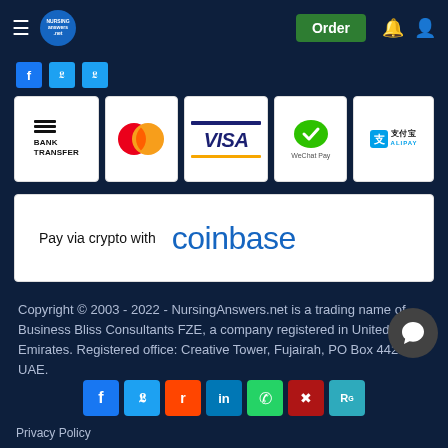NursingAnswers.net — Order | navigation bar
[Figure (screenshot): Partial social media icons row at top (Facebook, Twitter, another icon)]
[Figure (infographic): Payment method logos: Bank Transfer, Mastercard, Visa, WeChat Pay, Alipay]
[Figure (infographic): Pay via crypto with coinbase banner]
Copyright © 2003 - 2022 - NursingAnswers.net is a trading name of Business Bliss Consultants FZE, a company registered in United Arab Emirates. Registered office: Creative Tower, Fujairah, PO Box 4422, UAE.
[Figure (infographic): Social share buttons: Facebook, Twitter, Reddit, LinkedIn, WhatsApp, Mix, ResearchGate]
Privacy Policy